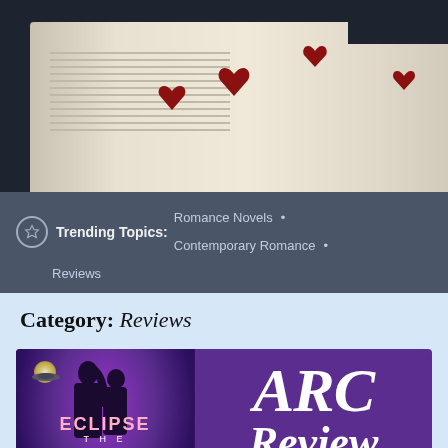[Figure (photo): Header banner photo showing an open book with red heart decorations on its pages, dark background on left]
Trending Topics: Romance Novels • Contemporary Romance • Reviews
Category: Reviews
[Figure (illustration): Article card showing book cover of 'Eclipse the Moon' on left (purple/dark space theme with silhouetted couple) and purple background on right with 'ARC Review' in large cursive white text]